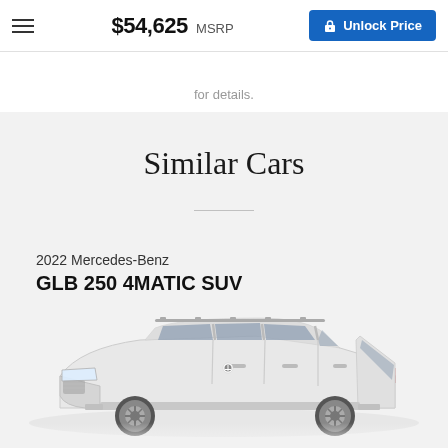$54,625 MSRP  Unlock Price
for details.
Similar Cars
2022 Mercedes-Benz
GLB 250 4MATIC SUV
[Figure (photo): White Mercedes-Benz GLB 250 4MATIC SUV shown from the side, partial view cropped at bottom of page]